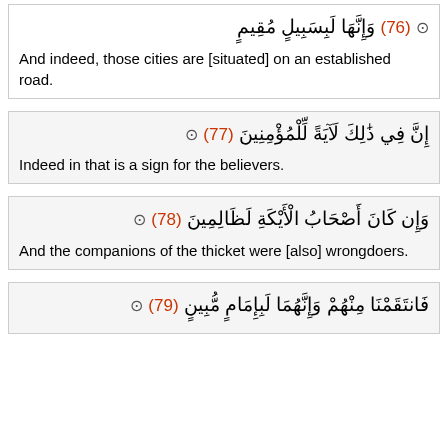وَإِنَّهَا لَبِسَبِيلٍ مُقِيمٍ (76) ⊙
إِنَّ فِي ذَٰلِكَ لَآيَةً لِّلْمُؤْمِنِينَ (77) ⊙
وَإِن كَانَ أَصْحَابُ الْأَيْكَةِ لَظَالِمِينَ (78) ⊙
فَانتَقَمْنَا مِنْهُمْ وَإِنَّهُمَا لَبِإِمَامٍ مُّبِينٍ (79) ⊙